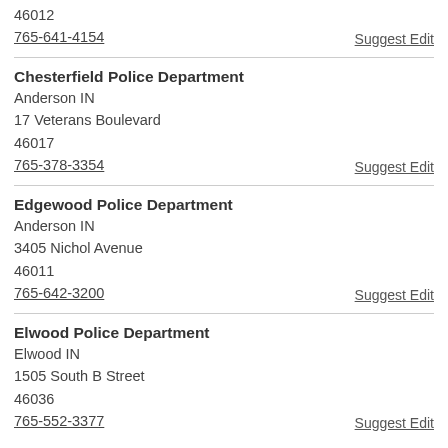46012
765-641-4154
Suggest Edit
Chesterfield Police Department
Anderson IN
17 Veterans Boulevard
46017
765-378-3354
Suggest Edit
Edgewood Police Department
Anderson IN
3405 Nichol Avenue
46011
765-642-3200
Suggest Edit
Elwood Police Department
Elwood IN
1505 South B Street
46036
765-552-3377
Suggest Edit